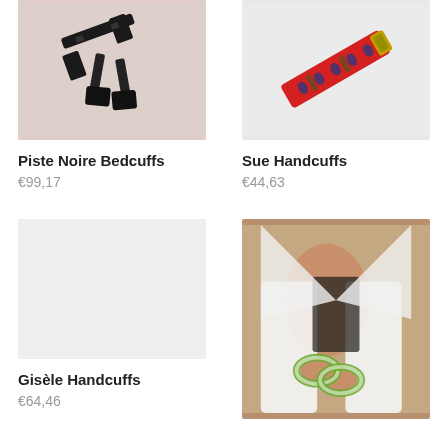[Figure (photo): Black leather bedcuffs/restraints on a light pinkish-beige background]
Piste Noire Bedcuffs
€99,17
[Figure (photo): Red patterned handcuffs/collar with blue and green design on a white background]
Sue Handcuffs
€44,63
[Figure (photo): Light gray placeholder image for product]
Gisèle Handcuffs
€64,46
[Figure (photo): Person wearing green and white fabric handcuffs on wrists, wearing white robe and black lingerie]